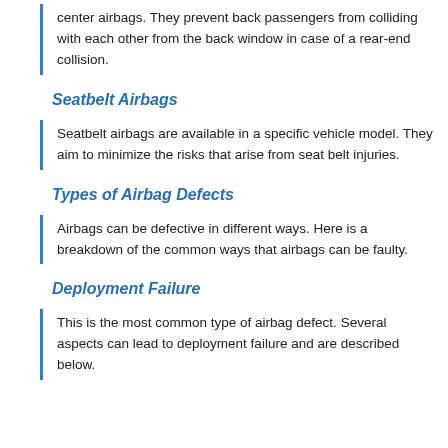center airbags. They prevent back passengers from colliding with each other from the back window in case of a rear-end collision.
Seatbelt Airbags
Seatbelt airbags are available in a specific vehicle model. They aim to minimize the risks that arise from seat belt injuries.
Types of Airbag Defects
Airbags can be defective in different ways. Here is a breakdown of the common ways that airbags can be faulty.
Deployment Failure
This is the most common type of airbag defect. Several aspects can lead to deployment failure and are described below.